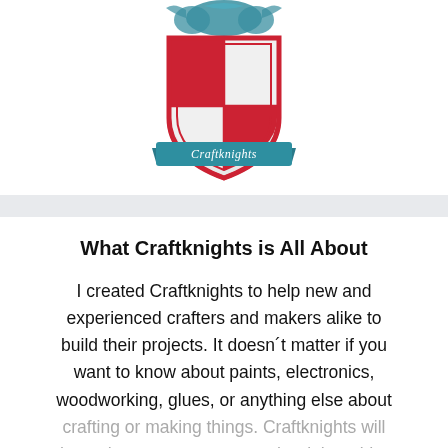[Figure (logo): Craftknights shield logo with red and white checkered shield, teal/blue ribbon banner with 'Craftknights' text, and decorative figures on top]
What Craftknights is All About
I created Craftknights to help new and experienced crafters and makers alike to build their projects. It doesn't matter if you want to know about paints, electronics, woodworking, glues, or anything else about crafting or making things. Craftknights will have the correct answer or the right guide.